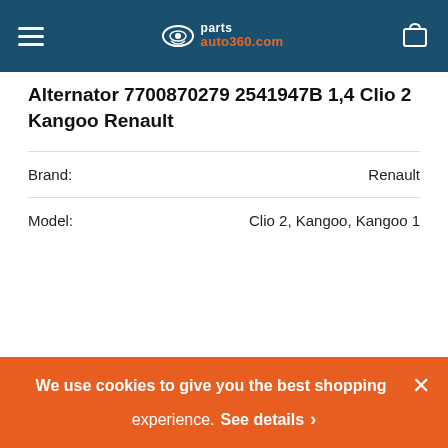parts auto360.com
[Figure (photo): Product image placeholder area (white/empty)]
Alternator 7700870279 2541947B 1,4 Clio 2 Kangoo Renault
| Attribute | Value |
| --- | --- |
| Brand: | Renault |
| Model: | Clio 2, Kangoo, Kangoo 1 |
We use cookies to give you the best shopping experience. See details >